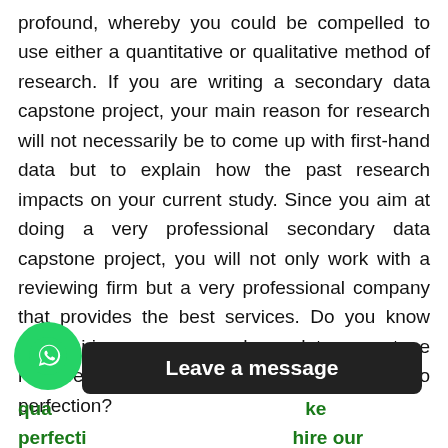profound, whereby you could be compelled to use either a quantitative or qualitative method of research. If you are writing a secondary data capstone project, your main reason for research will not necessarily be to come up with first-hand data but to explain how the past research impacts on your current study. Since you aim at doing a very professional secondary data capstone project, you will not only work with a reviewing firm but a very professional company that provides the best services. Do you know that hiring our secondary data capstone reviewers can help you edit your project to perfection?
[Figure (other): WhatsApp chat button (green circle with phone icon) and a dark 'Leave a message' bar overlay]
qua...ke perfection...hire our